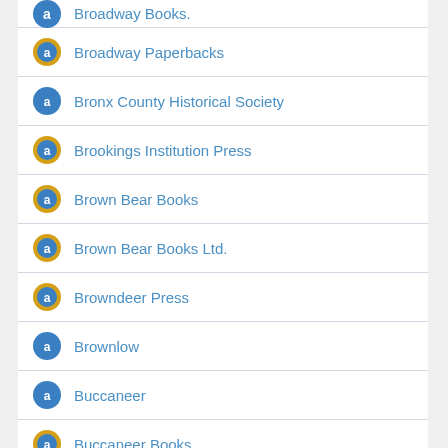Broadway Books (partial)
Broadway Paperbacks
Bronx County Historical Society
Brookings Institution Press
Brown Bear Books
Brown Bear Books Ltd.
Browndeer Press
Brownlow
Buccaneer
Buccaneer Books
Buena Vista Entertainment, Inc.